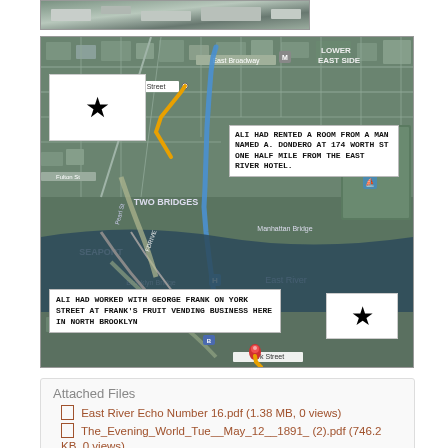[Figure (photo): Partially visible aerial/map image strip at top of page]
[Figure (map): Aerial satellite map of lower Manhattan and DUMBO Brooklyn area showing route between 174 Worth Street and York Street. Map includes labels: LOWER EAST SIDE, East Broadway, TWO BRIDGES, SEAPORT, Manhattan Bridge, Brooklyn Bridge, East River, Jane's Carousel, DUMBO, VINEGAR HILL, York Street. A blue route line connects the two starred locations. Two white callout boxes are overlaid on the map with text annotations.]
ALI HAD RENTED A ROOM FROM A MAN NAMED A. DONDERO AT 174 WORTH ST ONE HALF MILE FROM THE EAST RIVER HOTEL.
ALI HAD WORKED WITH GEORGE FRANK ON YORK STREET AT FRANK'S FRUIT VENDING BUSINESS HERE IN NORTH BROOKLYN
Attached Files
East River Echo Number 16.pdf (1.38 MB, 0 views)
The_Evening_World_Tue__May_12__1891_ (2).pdf (746.2 KB, 0 views)